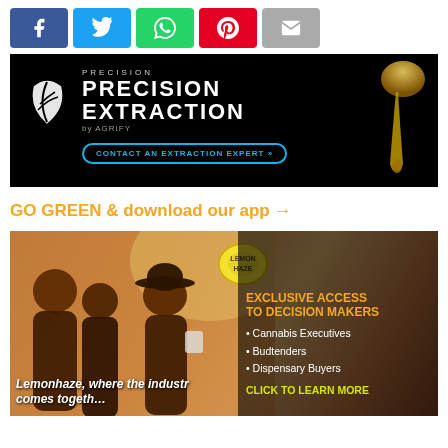[Figure (infographic): Social sharing buttons: Facebook (blue), Twitter (cyan), WhatsApp (green), Pinterest (red), Email (gray)]
[Figure (infographic): Precision Extraction by Agrify advertisement on black background with golden drip and contact button]
GO GREEN & download our app →
[Figure (photo): Lemonhaze event advertisement showing group of people at outdoor cannabis industry event with text: EXCLUSIVE ACCESS TO DECISION MAKERS, Cannabis Executives, Budtenders, Dispensary Buyers, CLICK TO LEARN MORE. Caption: Lemonhaze, where the industry comes together]